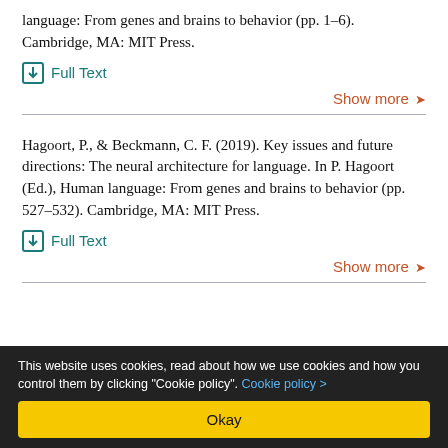language: From genes and brains to behavior (pp. 1–6). Cambridge, MA: MIT Press.
Full Text
Show more
Hagoort, P., & Beckmann, C. F. (2019). Key issues and future directions: The neural architecture for language. In P. Hagoort (Ed.), Human language: From genes and brains to behavior (pp. 527–532). Cambridge, MA: MIT Press.
Full Text
Show more
This website uses cookies, read about how we use cookies and how you control them by clicking "Cookie policy". Cookie policy >
Okay